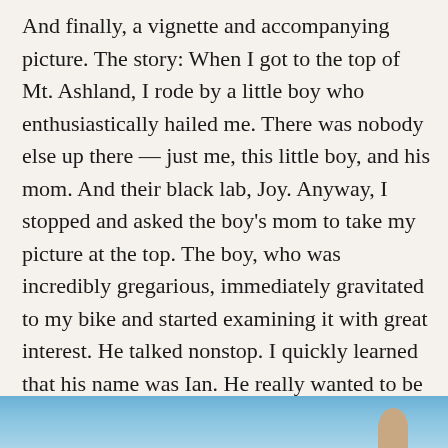And finally, a vignette and accompanying picture. The story: When I got to the top of Mt. Ashland, I rode by a little boy who enthusiastically hailed me. There was nobody else up there — just me, this little boy, and his mom. And their black lab, Joy. Anyway, I stopped and asked the boy's mom to take my picture at the top. The boy, who was incredibly gregarious, immediately gravitated to my bike and started examining it with great interest. He talked nonstop. I quickly learned that his name was Ian. He really wanted to be in my top-of-the-mountain picture, so here it is: Me and Ian at the top of Mt. Ashland.
[Figure (photo): Bottom portion of a photograph showing a blue sky, at the top of Mt. Ashland]